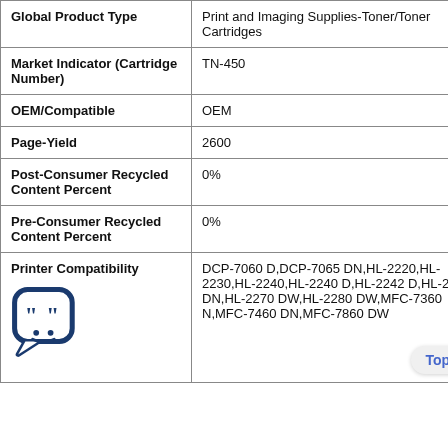| Field | Value |
| --- | --- |
| Global Product Type | Print and Imaging Supplies-Toner/Toner Cartridges |
| Market Indicator (Cartridge Number) | TN-450 |
| OEM/Compatible | OEM |
| Page-Yield | 2600 |
| Post-Consumer Recycled Content Percent | 0% |
| Pre-Consumer Recycled Content Percent | 0% |
| Printer Compatibility | DCP-7060 D,DCP-7065 DN,HL-2220,HL-2230,HL-2240,HL-2240 D,HL-2242 D,HL-2250 DN,HL-2270 DW,HL-2280 DW,MFC-7360 N,MFC-7460 DN,MFC-7860 DW |